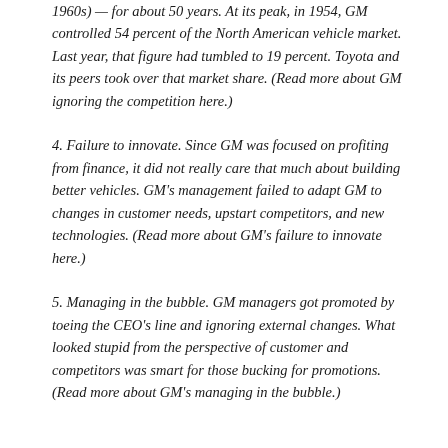1960s) — for about 50 years. At its peak, in 1954, GM controlled 54 percent of the North American vehicle market. Last year, that figure had tumbled to 19 percent. Toyota and its peers took over that market share. (Read more about GM ignoring the competition here.)
4. Failure to innovate. Since GM was focused on profiting from finance, it did not really care that much about building better vehicles. GM's management failed to adapt GM to changes in customer needs, upstart competitors, and new technologies. (Read more about GM's failure to innovate here.)
5. Managing in the bubble. GM managers got promoted by toeing the CEO's line and ignoring external changes. What looked stupid from the perspective of customer and competitors was smart for those bucking for promotions. (Read more about GM's managing in the bubble.)